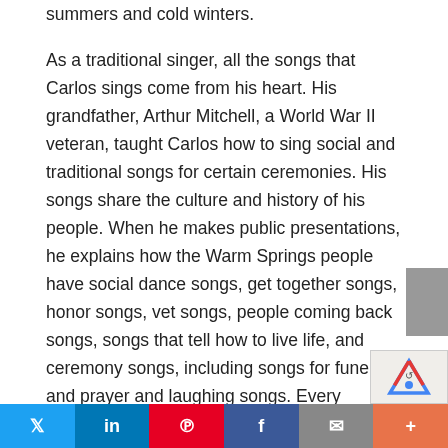summers and cold winters.

As a traditional singer, all the songs that Carlos sings come from his heart. His grandfather, Arthur Mitchell, a World War II veteran, taught Carlos how to sing social and traditional songs for certain ceremonies. His songs share the culture and history of his people. When he makes public presentations, he explains how the Warm Springs people have social dance songs, get together songs, honor songs, vet songs, people coming back songs, songs that tell how to live life, and ceremony songs, including songs for funerals and prayer and laughing songs. Every morning he prays with his children and they talk about what they're going to do and how they're going to carry themselves. He teaches th
Twitter | LinkedIn | Pinterest | Facebook | Email | More